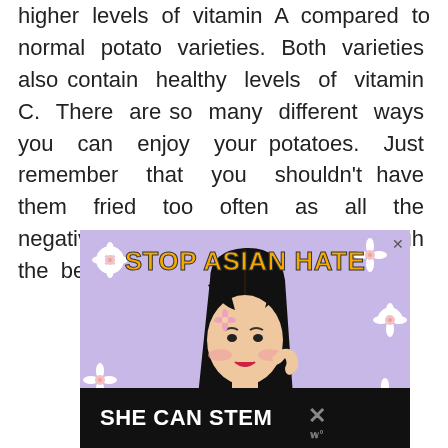higher levels of vitamin A compared to normal potato varieties. Both varieties also contain healthy levels of vitamin C. There are so many different ways you can enjoy your potatoes. Just remember that you shouldn't have them fried too often as all the negatives of fried foods will outweigh the benefits.
[Figure (illustration): Advertisement banner reading 'STOP ASIAN HATE' with an illustrated Asian woman with black hair and a flower accessory, surrounded by white flowers on a purple background.]
[Figure (illustration): Dark advertisement banner reading 'SHE CAN STEM' in white bold text on a black background, with a close button and a logo on the right side.]